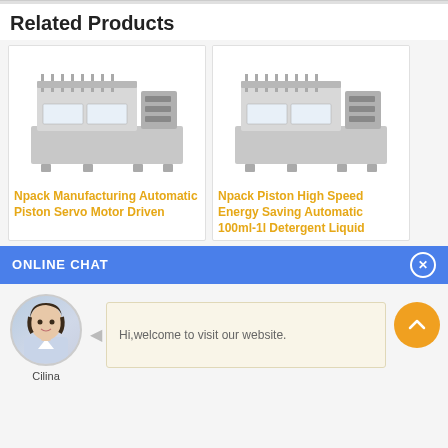Related Products
[Figure (photo): Industrial piston filling machine, stainless steel, side view]
Npack Manufacturing Automatic Piston Servo Motor Driven
[Figure (photo): Industrial piston filling machine, stainless steel, side view, similar model]
Npack Piston High Speed Energy Saving Automatic 100ml-1l Detergent Liquid
ONLINE CHAT
[Figure (photo): Avatar of chat assistant named Cilina, a woman in business attire]
Hi,welcome to visit our website.
Cilina